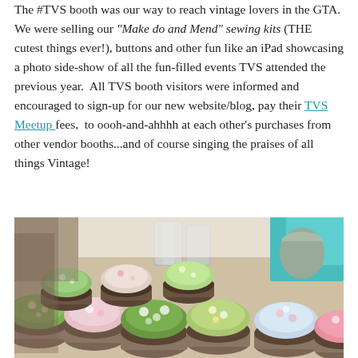The #TVS booth was our way to reach vintage lovers in the GTA. We were selling our "Make do and Mend" sewing kits (THE cutest things ever!), buttons and other fun like an iPad showcasing a photo side-show of all the fun-filled events TVS attended the previous year. All TVS booth visitors were informed and encouraged to sign-up for our new website/blog, pay their TVS Meetup fees, to oooh-and-ahhhh at each other's purchases from other vendor booths...and of course singing the praises of all things Vintage!
[Figure (photo): Photo of decorative fabric-topped pin cushions in circular metal tins arranged on a table, with ceramic mugs and other items visible in the background.]